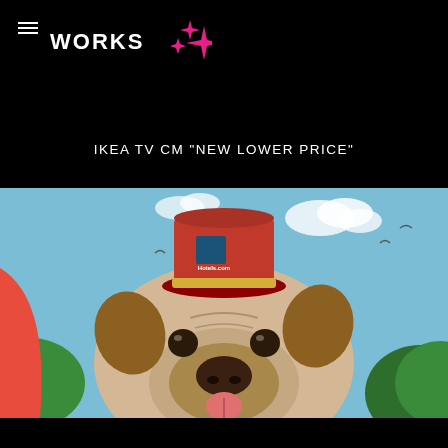WORKS
IKEA TV CM "NEW LOWER PRICE"
[Figure (photo): A pug dog wearing a red Hotels.com bellhop hat, tongue out, set against a blue sky with clouds and green trees in the background. A red fabric is visible on the left side.]